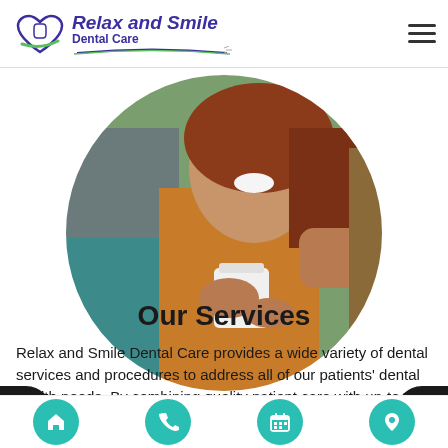[Figure (logo): Relax and Smile Dental Care logo with heart/tooth icon and stylized text]
[Figure (photo): Circular cropped photo of a smiling woman with red hair holding a white cup, with someone's arm around her shoulder, wearing an orange knit scarf]
Our Services
Relax and Smile Dental Care provides a wide variety of dental services and procedures to address all of our patients' dental health needs. By combining quality patient care with up-to-date technology, we are able to